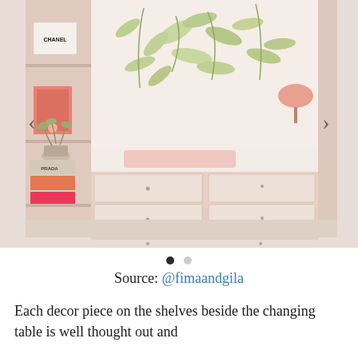[Figure (photo): Interior photo of a nursery room featuring open shelving on the left with a Chanel book, pink book, plant, and stacked books (including PRADA), a large dresser with multiple drawers in the center finished in blush/cream color, a white changing table surface on top, a floral/botanical wallpaper mural with green leaves on a cream background, a pink lamp in the background, and navigation arrows on left and right sides of the image.]
Source: @fimaandgila
Each decor piece on the shelves beside the changing table is well thought out and